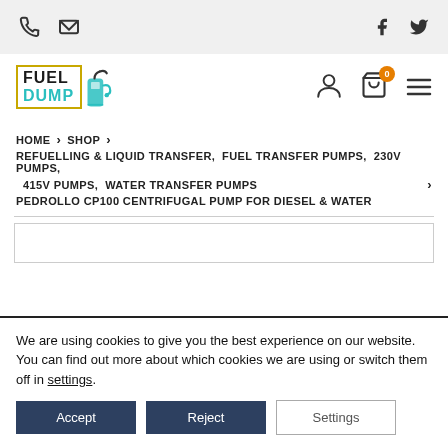Top navigation bar with phone, email, Facebook, Twitter icons
[Figure (logo): Fuel Dump logo with pump icon, user icon, cart icon with badge 0, hamburger menu]
HOME > SHOP > REFUELLING & LIQUID TRANSFER, FUEL TRANSFER PUMPS, 230V PUMPS, 415V PUMPS, WATER TRANSFER PUMPS > PEDROLLO CP100 CENTRIFUGAL PUMP FOR DIESEL & WATER
[Figure (other): Product image placeholder box]
We are using cookies to give you the best experience on our website. You can find out more about which cookies we are using or switch them off in settings.